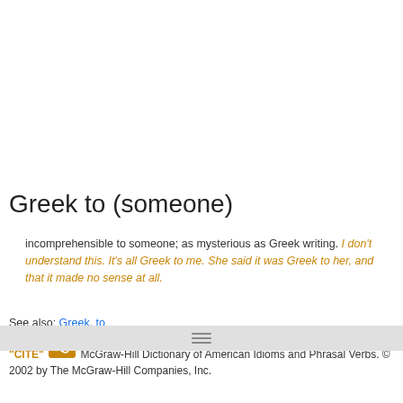Greek to (someone)
incomprehensible to someone; as mysterious as Greek writing. I don't understand this. It's all Greek to me. She said it was Greek to her, and that it made no sense at all.
See also: Greek, to
"CITE" [icon] McGraw-Hill Dictionary of American Idioms and Phrasal Verbs. © 2002 by The McGraw-Hill Companies, Inc.